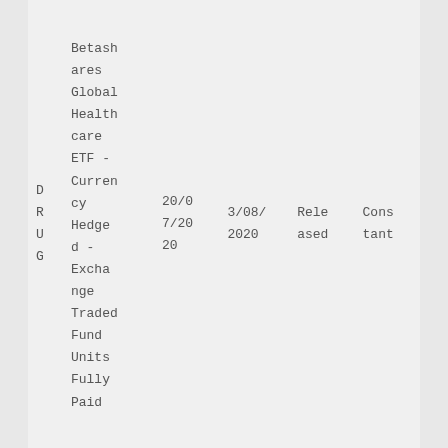|  | Name | Date | Date2 | Status | Type |
| --- | --- | --- | --- | --- | --- |
| D
R
U
G | Betashares Global Healthcare ETF - Currency Hedged - Exchange Traded Fund Units Fully Paid | 20/07/2020 | 3/08/2020 | Released | Constant |